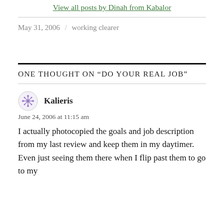View all posts by Dinah from Kabalor
May 31, 2006  /  working clearer
One thought on “Do Your Real Job”
Kalieris
June 24, 2006 at 11:15 am
I actually photocopied the goals and job description from my last review and keep them in my daytimer. Even just seeing them there when I flip past them to go to my